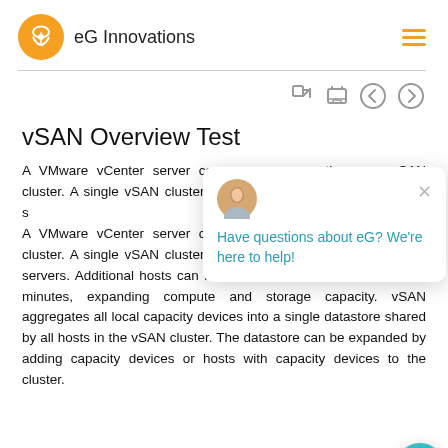eG Innovations
vSAN Overview Test
A VMware vCenter server can manage more than one vSAN cluster. A single vSAN cluster consists of any number of physical servers. Additional hosts can be added to a cluster in a matter of minutes, expanding compute and storage capacity. vSAN aggregates all local capacity devices into a single datastore shared by all hosts in the vSAN cluster. The datastore can be expanded by adding capacity devices or hosts with capacity devices to the cluster.